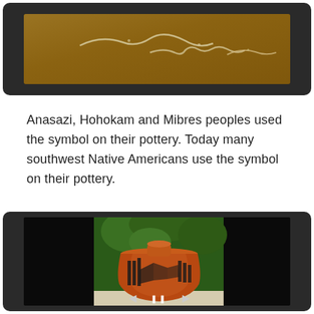[Figure (photo): Partial view of a media player showing what appears to be a sandy/desert surface with white linear symbols or cave art markings, displayed in a dark tablet-style frame]
Anasazi, Hohokam and Mibres peoples used the symbol on their pottery. Today many southwest Native Americans use the symbol on their pottery.
[Figure (photo): A media player showing a Native American pottery vessel (jar/olla) with reddish-brown clay and black geometric and figurative designs painted on it, set against a background of green leaves, displayed in a dark tablet-style frame with navigation controls (back arrow, pause button, forward arrow)]